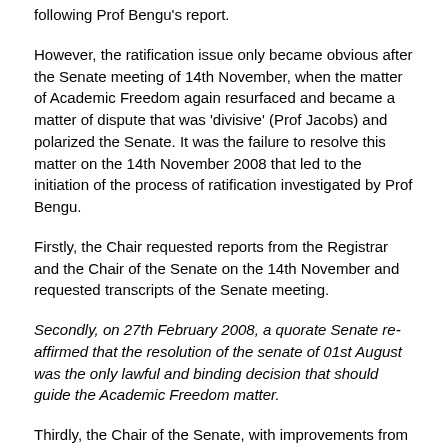following Prof Bengu's report.
However, the ratification issue only became obvious after the Senate meeting of 14th November, when the matter of Academic Freedom again resurfaced and became a matter of dispute that was 'divisive' (Prof Jacobs) and polarized the Senate. It was the failure to resolve this matter on the 14th November 2008 that led to the initiation of the process of ratification investigated by Prof Bengu.
Firstly, the Chair requested reports from the Registrar and the Chair of the Senate on the 14th November and requested transcripts of the Senate meeting.
Secondly, on 27th February 2008, a quorate Senate re-affirmed that the resolution of the senate of 01st August was the only lawful and binding decision that should guide the Academic Freedom matter.
Thirdly, the Chair of the Senate, with improvements from Prof Uys and Zacharias proposed to the Senate on the 27th February that an investigation be conducted into the Minutes of Senate of the 1st August, 03rd October and 14th November in order to establish the truth concerning the various decisions on Academic Freedom in